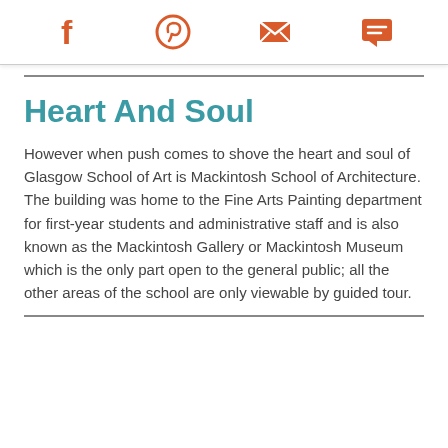Facebook | Pinterest | Email | Chat
Heart And Soul
However when push comes to shove the heart and soul of Glasgow School of Art is Mackintosh School of Architecture. The building was home to the Fine Arts Painting department for first-year students and administrative staff and is also known as the Mackintosh Gallery or Mackintosh Museum which is the only part open to the general public; all the other areas of the school are only viewable by guided tour.